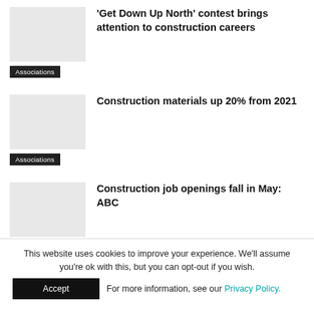'Get Down Up North' contest brings attention to construction careers
Associations
Construction materials up 20% from 2021
Associations
Construction job openings fall in May: ABC
Associations
This website uses cookies to improve your experience. We'll assume you're ok with this, but you can opt-out if you wish.
Accept  For more information, see our Privacy Policy.